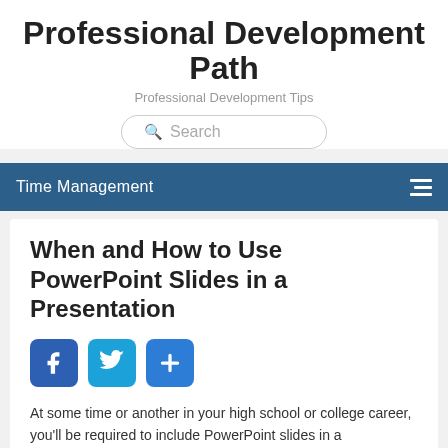Professional Development Path
Professional Development Tips
Time Management
When and How to Use PowerPoint Slides in a Presentation
[Figure (other): Social share buttons: Facebook, Twitter, and a share/add button]
At some time or another in your high school or college career, you'll be required to include PowerPoint slides in a presentation. Even if they are not required, there are certainly times when they would be helpful to your presentation, allowing you to